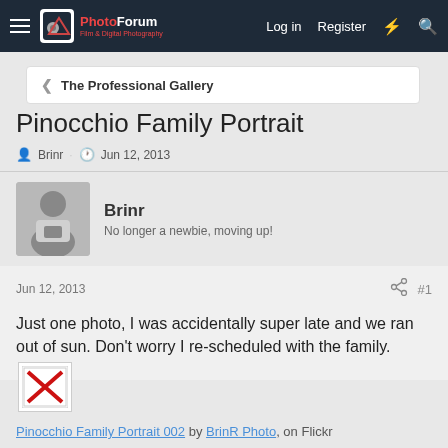The Photo Forum — Log in | Register
The Professional Gallery
Pinocchio Family Portrait
Brinr · Jun 12, 2013
Brinr
No longer a newbie, moving up!
Jun 12, 2013  #1
Just one photo, I was accidentally super late and we ran out of sun. Don't worry I re-scheduled with the family.
[Figure (photo): Broken image placeholder with red X]
Pinocchio Family Portrait 002 by BrinR Photo, on Flickr